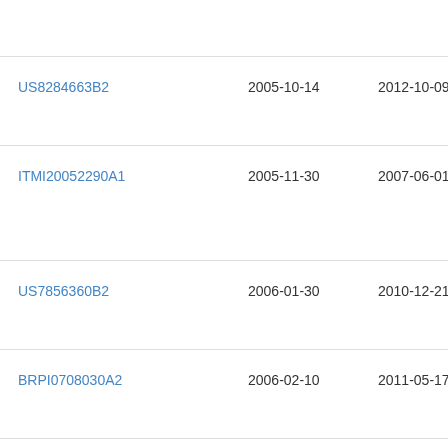| Publication Number | Filing Date | Publication Date | Title/Description |
| --- | --- | --- | --- |
|  |  |  | Cor... |
| US8284663B2 | 2005-10-14 | 2012-10-09 | Tur... |
| ITMI20052290A1 | 2005-11-30 | 2007-06-01 | Pas... Del... |
| US7856360B2 | 2006-01-30 | 2010-12-21 | Ho... |
| BRPI0708030A2 | 2006-02-10 | 2011-05-17 | Str... |
| US8112478B2 | 2006-03-13 | 2012-02-07 | Ora... Cor... |